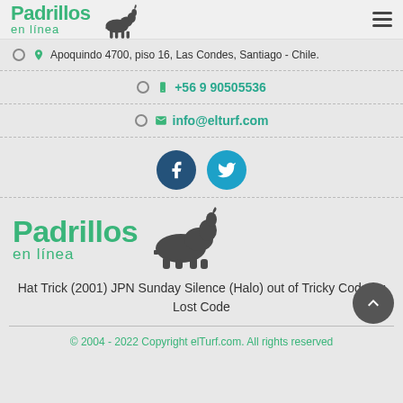Padrillos en línea
Apoquindo 4700, piso 16, Las Condes, Santiago - Chile.
+56 9 90505536
info@elturf.com
[Figure (logo): Facebook and Twitter social media icon circles]
[Figure (logo): Padrillos en línea logo with horse silhouette, larger version]
Hat Trick (2001) JPN Sunday Silence (Halo) out of Tricky Code by Lost Code
© 2004 - 2022 Copyright elTurf.com. All rights reserved